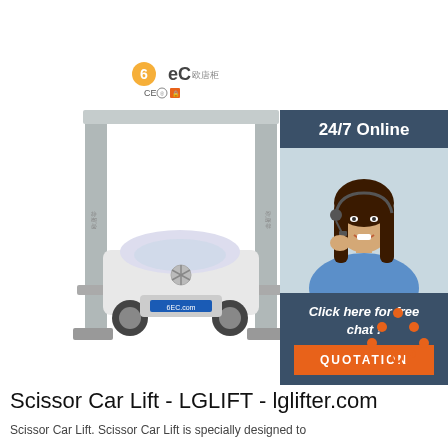[Figure (logo): 6EC brand logo with CE and other certification marks]
[Figure (photo): Two-post car lift with a white Mercedes-Benz car elevated on it, product image for Scissor Car Lift by LGLIFT]
[Figure (photo): 24/7 Online support sidebar with photo of smiling woman with headset, dark blue background, 'Click here for free chat!' text, and orange QUOTATION button]
[Figure (illustration): Orange TOP arrow/triangle icon in bottom right area]
Scissor Car Lift - LGLIFT - lglifter.com
Scissor Car Lift. Scissor Car Lift is specially designed to